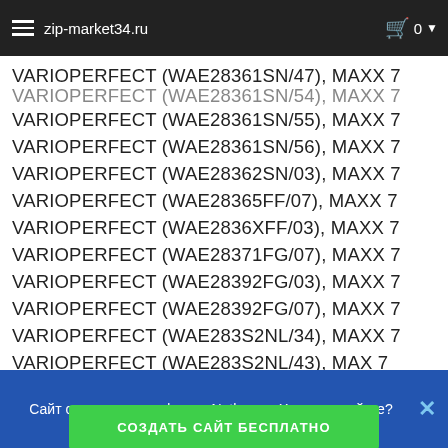zip-market34.ru
VARIOPERFECT (WAE28361SN/47), MAXX 7
VARIOPERFECT (WAE28361SN/54), MAXX 7
VARIOPERFECT (WAE28361SN/55), MAXX 7
VARIOPERFECT (WAE28361SN/56), MAXX 7
VARIOPERFECT (WAE28362SN/03), MAXX 7
VARIOPERFECT (WAE28365FF/07), MAXX 7
VARIOPERFECT (WAE2836XFF/03), MAXX 7
VARIOPERFECT (WAE28371FG/07), MAXX 7
VARIOPERFECT (WAE28392FG/03), MAXX 7
VARIOPERFECT (WAE28392FG/07), MAXX 7
VARIOPERFECT (WAE283S2NL/34), MAXX 7
VARIOPERFECT (WAE283S2NL/43), MAX 7
VARIOPERFECT (WAE283S2NL/47), MAXX 7
VARIOPERFECT (WAE283S2NL/48), MAXX 7
VARIOPERFECT (WAE283S2NL/54), MAXX 7
Сайт создан на платформе Nethouse. Хотите такой же?
СОЗДАТЬ САЙТ БЕСПЛАТНО